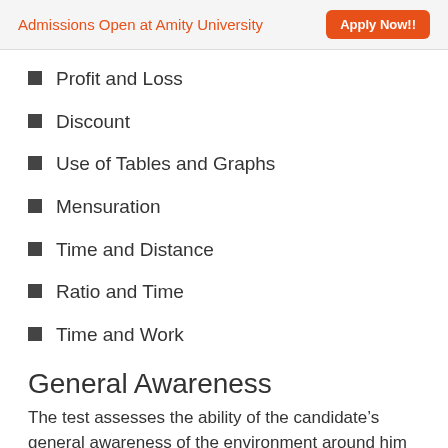Admissions Open at Amity University   Apply Now!!
Profit and Loss
Discount
Use of Tables and Graphs
Mensuration
Time and Distance
Ratio and Time
Time and Work
General Awareness
The test assesses the ability of the candidate’s general awareness of the environment around him and its application to society. In addition to that, the test of